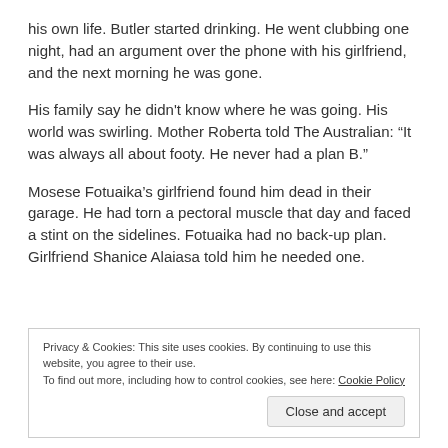his own life. Butler started drinking. He went clubbing one night, had an argument over the phone with his girlfriend, and the next morning he was gone.
His family say he didn't know where he was going. His world was swirling. Mother Roberta told The Australian: “It was always all about footy. He never had a plan B.”
Mosese Fotuaika’s girlfriend found him dead in their garage. He had torn a pectoral muscle that day and faced a stint on the sidelines. Fotuaika had no back-up plan. Girlfriend Shanice Alaiasa told him he needed one.
Privacy & Cookies: This site uses cookies. By continuing to use this website, you agree to their use.
To find out more, including how to control cookies, see here: Cookie Policy
Close and accept